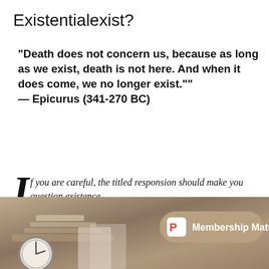Existentialexist?
“Death does not concern us, because as long as we exist, death is not here. And when it does come, we no longer exist.””
— Epicurus (341-270 BC)
If you are careful, the titled responsion should make you question existence.
[Figure (photo): Photo of a desk with books, papers and an analog clock, partially visible at the bottom of the page, with a 'Membership Matters!' badge overlay in the lower right.]